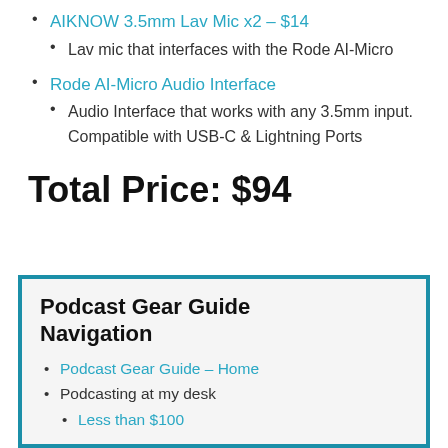AIKNOW 3.5mm Lav Mic x2 – $14
Lav mic that interfaces with the Rode AI-Micro
Rode AI-Micro Audio Interface
Audio Interface that works with any 3.5mm input. Compatible with USB-C & Lightning Ports
Total Price: $94
Podcast Gear Guide Navigation
Podcast Gear Guide – Home
Podcasting at my desk
Less than $100